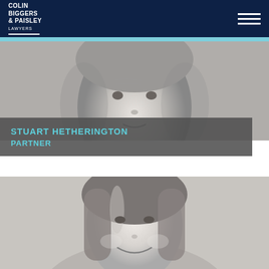Colin Biggers & Paisley Lawyers
[Figure (photo): Black and white close-up portrait of Stuart Hetherington, a man with grey hair, partially visible]
STUART HETHERINGTON
PARTNER
[Figure (photo): Black and white portrait of a smiling woman with long brown hair, partially visible from the mid-chest up]